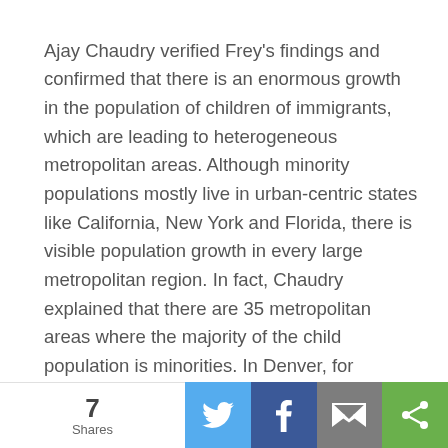Ajay Chaudry verified Frey's findings and confirmed that there is an enormous growth in the population of children of immigrants, which are leading to heterogeneous metropolitan areas. Although minority populations mostly live in urban-centric states like California, New York and Florida, there is visible population growth in every large metropolitan region. In fact, Chaudry explained that there are 35 metropolitan areas where the majority of the child population is minorities. In Denver, for example, three-quarters of the growth in the child population are due to immigrant families.
Dowell Myers believes that immigration is dynamic and that our perception of immigration lags behind reality. And although Myers agrees that there is a generational divide